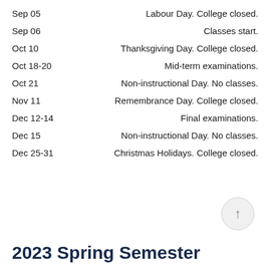Sep 05 — Labour Day. College closed.
Sep 06 — Classes start.
Oct 10 — Thanksgiving Day. College closed.
Oct 18-20 — Mid-term examinations.
Oct 21 — Non-instructional Day. No classes.
Nov 11 — Remembrance Day. College closed.
Dec 12-14 — Final examinations.
Dec 15 — Non-instructional Day. No classes.
Dec 25-31 — Christmas Holidays. College closed.
[Figure (other): Arrow-up navigation button (circle with upward arrow)]
2023 Spring Semester